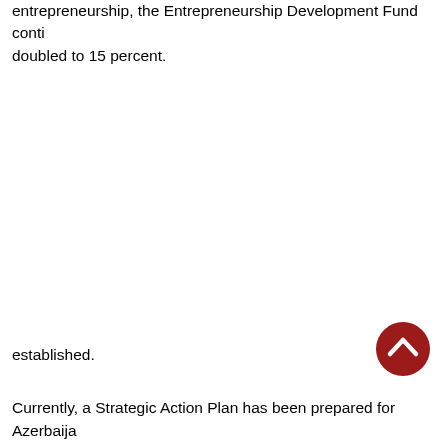entrepreneurship, the Entrepreneurship Development Fund conti... doubled to 15 percent.
established.
Currently, a Strategic Action Plan has been prepared for Azerbaija...